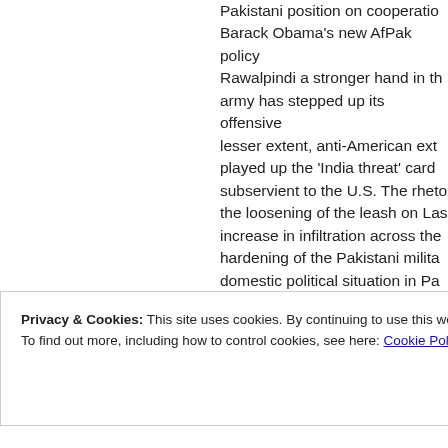Pakistani position on cooperation Barack Obama's new AfPak policy Rawalpindi a stronger hand in th army has stepped up its offensive lesser extent, anti-American ext played up the 'India threat' card subservient to the U.S. The rheto the loosening of the leash on Las increase in infiltration across the hardening of the Pakistani milita domestic political situation in Pa constitution has opened up the p the provinces strengthening them the Benazir Bhutto assassination
Privacy & Cookies: This site uses cookies. By continuing to use this website, you agree to their use.
To find out more, including how to control cookies, see here: Cookie Policy
Close and accept